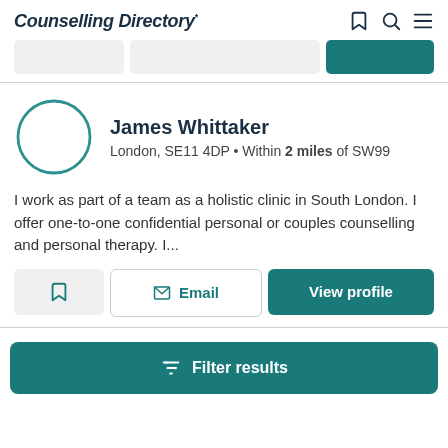Counselling Directory
[Figure (screenshot): Search bar strip with two input boxes and a teal search button]
[Figure (illustration): Circular avatar placeholder with teal border outline]
James Whittaker
London, SE11 4DP • Within 2 miles of SW99
I work as part of a team as a holistic clinic in South London. I offer one-to-one confidential personal or couples counselling and personal therapy. I...
Email
View profile
Filter results